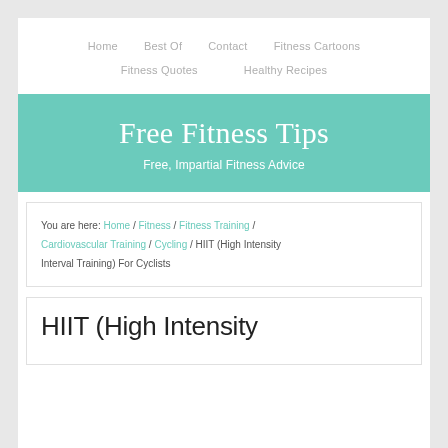Home | Best Of | Contact | Fitness Cartoons | Fitness Quotes | Healthy Recipes
Free Fitness Tips
Free, Impartial Fitness Advice
You are here: Home / Fitness / Fitness Training / Cardiovascular Training / Cycling / HIIT (High Intensity Interval Training) For Cyclists
HIIT (High Intensity